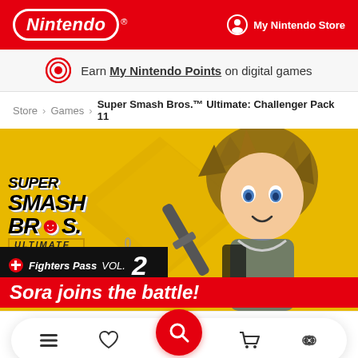Nintendo | My Nintendo Store
Earn My Nintendo Points on digital games
Store > Games > Super Smash Bros.™ Ultimate: Challenger Pack 11
[Figure (screenshot): Super Smash Bros. Ultimate Fighters Pass Vol. 2 promotional banner featuring Sora from Kingdom Hearts with text 'Sora joins the battle!']
Sora joins the battle!